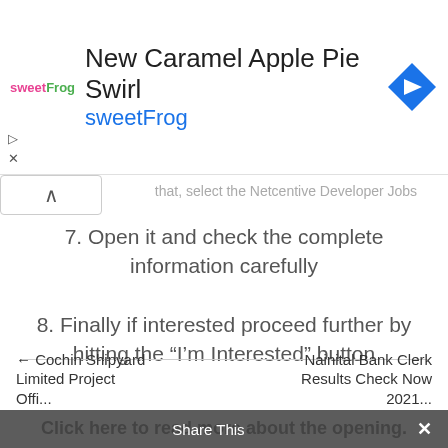[Figure (screenshot): sweetFrog advertisement banner with logo, 'New Caramel Apple Pie Swirl' heading and blue navigation icon]
that, select the Netcentive Developer Jobs
7. Open it and check the complete information carefully
8. Finally if interested proceed further by hitting the “I’m Interested” button
Click here to read more about the opening.
Click here to apply – Direct Link
← Cochin Shipyard Limited Project Offers L...  |  Share This  |  Nainital Bank Clerk Results Check Now 2021...  ×